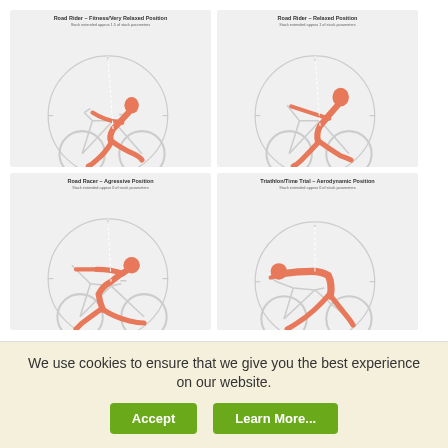[Figure (illustration): Four cycling position diagrams in a 2x2 grid: Road Rider Fitness/Very Relaxed Position, Road Rider Relaxed Position, Road Racer Aggressive Position, Triathlon/Time Trial Aerodynamic Position. Each shows an orange silhouette of a rider on a bicycle with a clock-face angle reference circle in the background.]
We use cookies to ensure that we give you the best experience on our website.
Accept
Learn More...